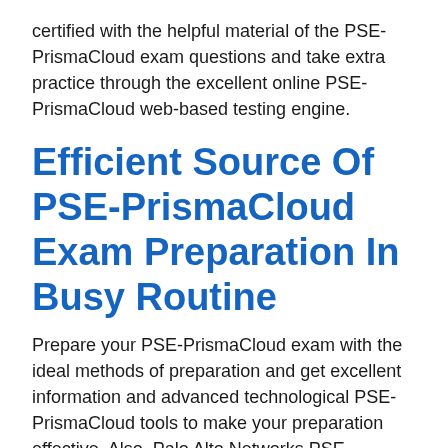certified with the helpful material of the PSE-PrismaCloud exam questions and take extra practice through the excellent online PSE-PrismaCloud web-based testing engine.
Efficient Source Of PSE-PrismaCloud Exam Preparation In Busy Routine
Prepare your PSE-PrismaCloud exam with the ideal methods of preparation and get excellent information and advanced technological PSE-PrismaCloud tools to make your preparation effective. Also, Palo Alto Networks PSE-PrismaCloud pdf dumps are created by getting knowledge from the syllabus and according to the Palo Alto Networks System Engineer - Prisma Cloud exam pattern, so that is the positive point of the error